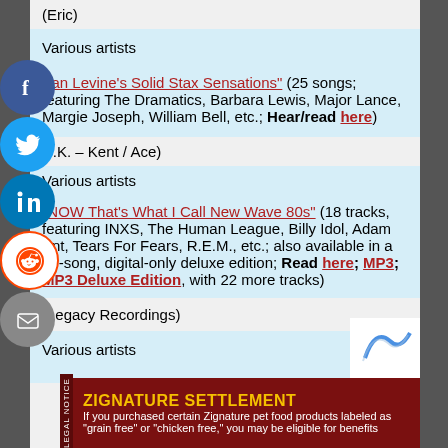(Eric)
Various artists
"Ian Levine's Solid Stax Sensations" (25 songs; featuring The Dramatics, Barbara Lewis, Major Lance, Margie Joseph, William Bell, etc.; Hear/read here)
U.K. – Kent / Ace)
Various artists
"NOW That's What I Call New Wave 80s" (18 tracks, featuring INXS, The Human League, Billy Idol, Adam Ant, Tears For Fears, R.E.M., etc.; also available in a 40-song, digital-only deluxe edition; Read here; MP3; MP3 Deluxe Edition, with 22 more tracks)
(Legacy Recordings)
Various artists
ZIGNATURE SETTLEMENT — If you purchased certain Zignature pet food products labeled as "grain free" or "chicken free," you may be eligible for benefits